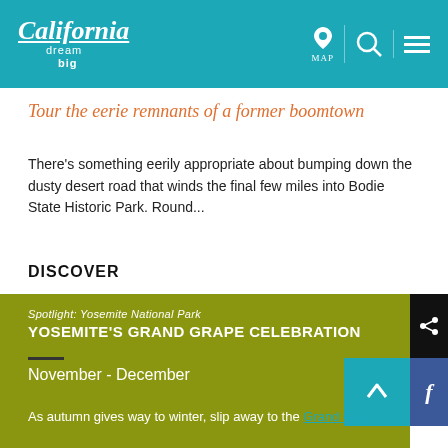California dream big — MAP [icon] [search icon] [menu icon]
Tour the eerie remnants of a former boomtown
There's something eerily appropriate about bumping down the dusty desert road that winds the final few miles into Bodie State Historic Park. Round...
DISCOVER
Spotlight: Yosemite National Park
YOSEMITE'S GRAND GRAPE CELEBRATION
November - December
As autumn gives way to winter, slip away to the Grand Grape...